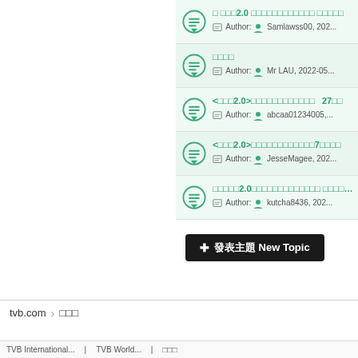□ □□□2.0 □□□□□□□□□□□□ □□□□□ — Author: Samlawss00, 202...
□□□□ — Author: Mr LAU, 2022-05...
<□□□2.0>□□□□□□□□□□□□ 27□□ — Author: abcaa01234005,...
<□□□2.0>□□□□□□□□□□□□7□□□□ — Author: JesseMagee, 202...
□□□□□2.0□□□□□□□□□□□□□ □□□□□□□□ — Author: kutcha8436, 202...
✚ 發表主題 New Topic
tvb.com > □□□ | TVB International... | TVB World... | □□□...